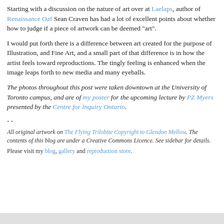Starting with a discussion on the nature of art over at Laelaps, author of Renaissance Oaf Sean Craven has had a lot of excellent points about whether how to judge if a piece of artwork can be deemed "art".
I would put forth there is a difference between art created for the purpose of Illustration, and Fine Art, and a small part of that difference is in how the artist feels toward reproductions. The tingly feeling is enhanced when the image leaps forth to new media and many eyeballs.
The photos throughout this post were taken downtown at the University of Toronto campus, and are of my poster for the upcoming lecture by PZ Myers presented by the Centre for Inquiry Ontario.
- -
All original artwork on The Flying Trilobite Copyright to Glendon Mellow. The contents of this blog are under a Creative Commons Licence. See sidebar for details. Please visit my blog, gallery and reproduction store.